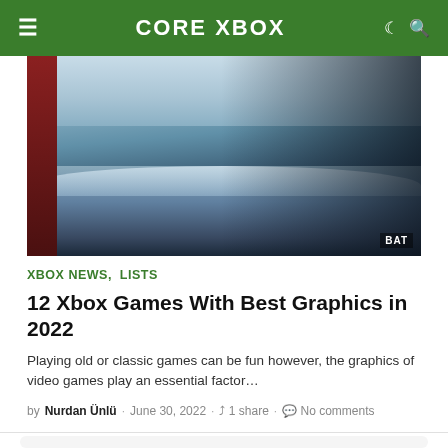CORE XBOX
[Figure (screenshot): Hero image of an Xbox game showing a snowy battlefield scene with a sniper rifle in first-person view, soldiers in the distance, with 'BAT' watermark in bottom right corner]
XBOX NEWS, LISTS
12 Xbox Games With Best Graphics in 2022
Playing old or classic games can be fun however, the graphics of video games play an essential factor…
by Nurdan Ünlü · June 30, 2022 · 1 share · No comments